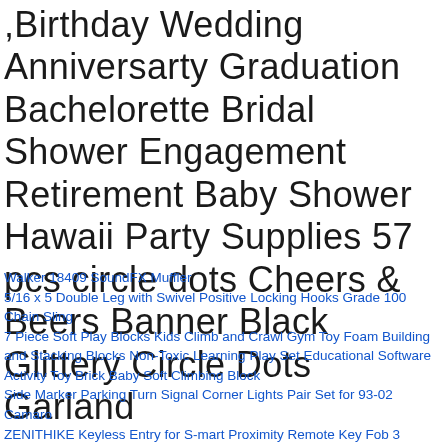,Birthday Wedding Anniversarty Graduation Bachelorette Bridal Shower Engagement Retirement Baby Shower Hawaii Party Supplies 57 pcs circle dots Cheers & Beers Banner Black Glittery Circle Dots Garland
Walker 18409 SoundFX Muffler
5/16 x 5 Double Leg with Swivel Positive Locking Hooks Grade 100 Chain Sling
7 Piece Soft Play Blocks Kids Climb and Crawl Gym Toy Foam Building and Stacking Blocks Non-Toxic Learning Play Set Educational Software Activity Toy Brick Baby Soft Climbing Block
Side Marker Parking Turn Signal Corner Lights Pair Set for 93-02 Camaro
ZENITHIKE Keyless Entry for S-mart Proximity Remote Key Fob 3